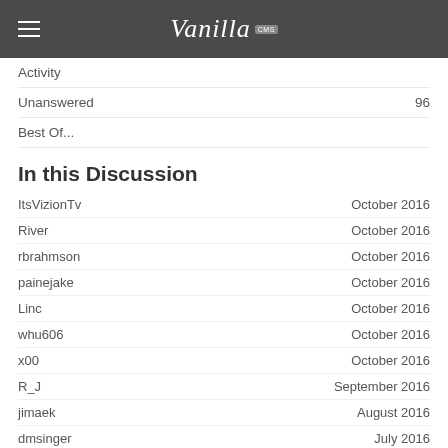Vanilla CMS
Activity
Unanswered   96
Best Of...
In this Discussion
ItsVizionTv   October 2016
River   October 2016
rbrahmson   October 2016
painejake   October 2016
Linc   October 2016
whu606   October 2016
x00   October 2016
R_J   September 2016
jimaek   August 2016
dmsinger   July 2016